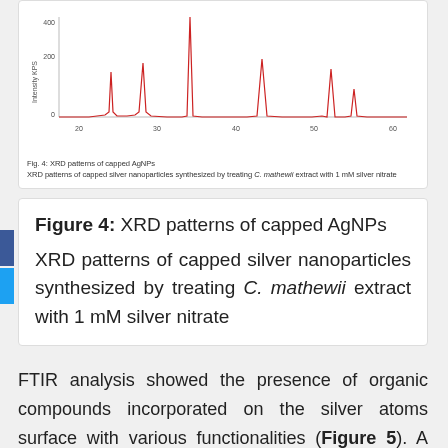[Figure (continuous-plot): XRD pattern chart showing intensity (KPS) vs 2-theta angle (20-60 range). Red line shows multiple sharp peaks at approximately 28, 32, 38, 46, 54, and 57 degrees, with the tallest peak near 38 degrees reaching ~400 KPS.]
Fig. 4: XRD patterns of capped AgNPs
XRD patterns of capped silver nanoparticles synthesized by treating C. mathewii extract with 1 mM silver nitrate
Figure 4: XRD patterns of capped AgNPs
XRD patterns of capped silver nanoparticles synthesized by treating C. mathewii extract with 1 mM silver nitrate
FTIR analysis showed the presence of organic compounds incorporated on the silver atoms surface with various functionalities (Figure 5). A broad peak